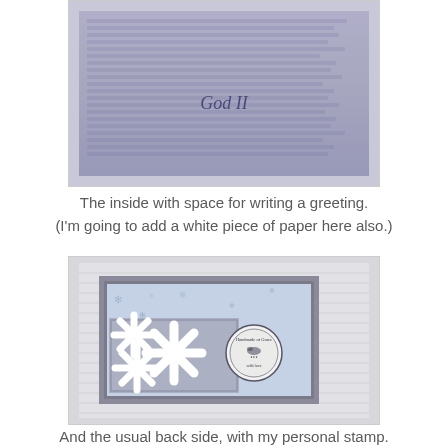[Figure (photo): Close-up photo of the inside of a handmade card showing a background with faint blue script/text and a cursive 'God' signature in the center, with a dark brown mat border.]
The inside with space for writing a greeting.
(I'm going to add a white piece of paper here also.)
[Figure (photo): Photo of the back/front of a handmade greeting card. The card has a white ribbed texture outer. Inside is a grey mat with a blue snowflake patterned paper. Three large white die-cut snowflakes are layered on the patterned paper. A circular stamp/medallion is placed to the right, reading text around the border.]
And the usual back side, with my personal stamp.